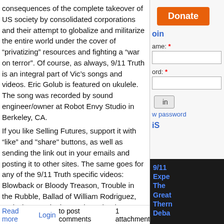consequences of the complete takeover of US society by consolidated corporations and their attempt to globalize and militarize the entire world under the cover of “privatizing” resources and fighting a “war on terror”. Of course, as always, 9/11 Truth is an integral part of Vic's songs and videos. Eric Golub is featured on ukulele. The song was recorded by sound engineer/owner at Robot Envy Studio in Berkeley, CA.
If you like Selling Futures, support it with “like” and "share" buttons, as well as sending the link out in your emails and posting it to other sites. The same goes for any of the 9/11 Truth specific videos: Blowback or Bloody Treason, Trouble in the Rubble, Ballad of William Rodriguez, and Cheney’s in the Bunker. Thank you! The song, Selling Futures, is copyrighted. But the video has a Creative Commons Copyright with free download and use without the right to change the video.
Vic Sadot is Truth Troubadour at twitter, 911blogger, gmail, youtube, bliptv, and blogspot.
Selling Futures - Truth Troubadour Music Video at You Tube
http://youtu.be/qwN2Dr69xzk
Read more   Login to post comments   1 attachment
[Figure (screenshot): Right sidebar with Donate button, login form fields (Name, Password), login button, new password link, and a dark panel with blue text reading '9/11 Expe... The Great Thern... Deba...']